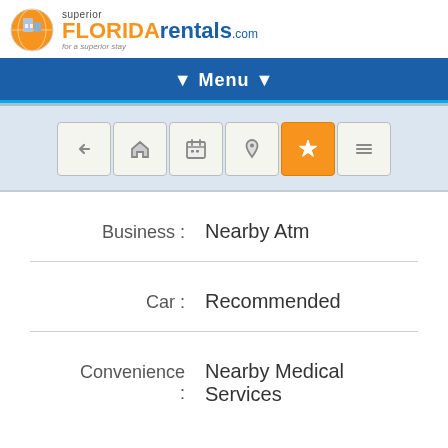[Figure (logo): Superior Florida Rentals logo with globe/building icon, orange FLORIDA and blue rentals text, tagline 'for a superior stay']
▼ Menu ▼
[Figure (infographic): Navigation icon toolbar with 6 buttons: back arrow, home, calendar, location pin, star (active/orange), list view]
Business :    Nearby Atm
Car :    Recommended
Convenience :    Nearby Medical Services